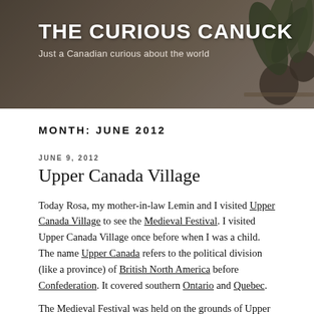[Figure (photo): Blog header banner with dark background showing blurred plants/vases on a table. Blog title 'THE CURIOUS CANUCK' and tagline 'Just a Canadian curious about the world' overlaid in white text.]
THE CURIOUS CANUCK
Just a Canadian curious about the world
MONTH: JUNE 2012
JUNE 9, 2012
Upper Canada Village
Today Rosa, my mother-in-law Lemin and I visited Upper Canada Village to see the Medieval Festival. I visited Upper Canada Village once before when I was a child. The name Upper Canada refers to the political division (like a province) of British North America before Confederation. It covered southern Ontario and Quebec.
The Medieval Festival was held on the grounds of Upper